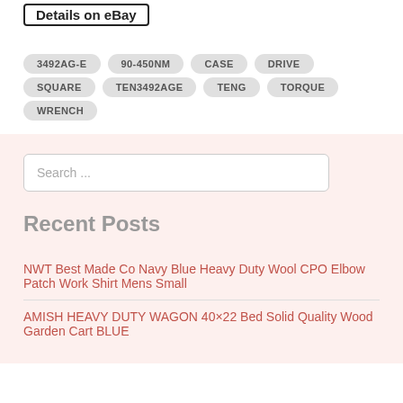[Figure (screenshot): Button with text 'Details on eBay' in a rectangular box with rounded corners and bold border]
3492AG-E
90-450NM
CASE
DRIVE
SQUARE
TEN3492AGE
TENG
TORQUE
WRENCH
Search ...
Recent Posts
NWT Best Made Co Navy Blue Heavy Duty Wool CPO Elbow Patch Work Shirt Mens Small
AMISH HEAVY DUTY WAGON 40×22 Bed Solid Quality Wood Garden Cart BLUE